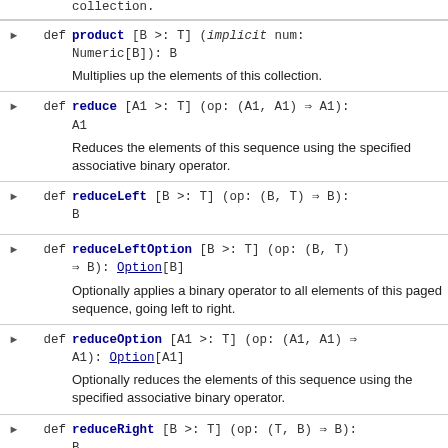collection.
def product [B >: T] (implicit num: Numeric[B]): B — Multiplies up the elements of this collection.
def reduce [A1 >: T] (op: (A1, A1) => A1): A1 — Reduces the elements of this sequence using the specified associative binary operator.
def reduceLeft [B >: T] (op: (B, T) => B): B
def reduceLeftOption [B >: T] (op: (B, T) => B): Option[B] — Optionally applies a binary operator to all elements of this paged sequence, going left to right.
def reduceOption [A1 >: T] (op: (A1, A1) => A1): Option[A1] — Optionally reduces the elements of this sequence using the specified associative binary operator.
def reduceRight [B >: T] (op: (T, B) => B): B — Applies a binary operator to all elements of this